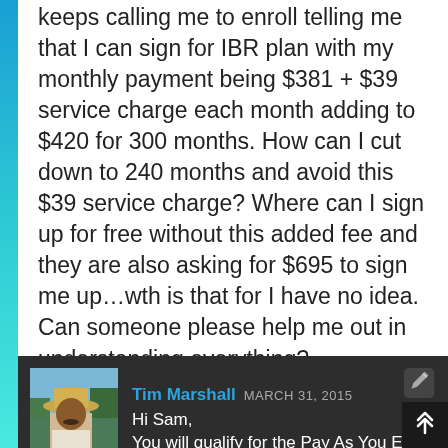keeps calling me to enroll telling me that I can sign for IBR plan with my monthly payment being $381 + $39 service charge each month adding to $420 for 300 months. How can I cut down to 240 months and avoid this $39 service charge? Where can I sign up for free without this added fee and they are also asking for $695 to sign me up…wth is that for I have no idea. Can someone please help me out in understanding everything?
Reply
Tim Marshall MARCH 31, 2015
Hi Sam,
You will qualify for the Pay As You Earn plan if your loans were taken